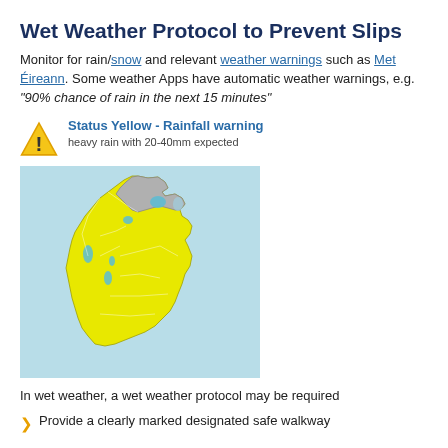Wet Weather Protocol to Prevent Slips
Monitor for rain/snow and relevant weather warnings such as Met Éireann. Some weather Apps have automatic weather warnings, e.g. “90% chance of rain in the next 15 minutes”
[Figure (infographic): Yellow warning triangle with exclamation mark, Status Yellow - Rainfall warning, heavy rain with 20-40mm expected]
[Figure (map): Map of Ireland showing Status Yellow rainfall warning. Most of Ireland shown in yellow, Northern Ireland shown in grey, with blue water bodies marked.]
In wet weather, a wet weather protocol may be required
Provide a clearly marked designated safe walkway